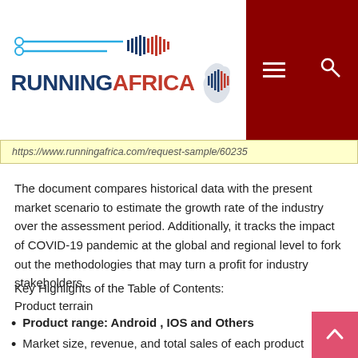RUNNINGAFRICA
https://www.runningafrica.com/request-sample/60235
The document compares historical data with the present market scenario to estimate the growth rate of the industry over the assessment period. Additionally, it tracks the impact of COVID-19 pandemic at the global and regional level to fork out the methodologies that may turn a profit for industry stakeholders.
Key Highlights of the Table of Contents:
Product terrain
Product range: Android , IOS and Others
Market size, revenue, and total sales of each product